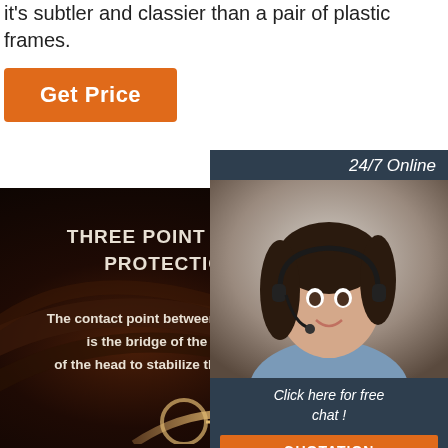it's subtler and classier than a pair of plastic frames.
Get Price
[Figure (photo): Customer service representative with headset, 24/7 Online chat widget with quotation button]
THREE POINT ENVIRONMENTAL PROTECTION FITTING
The contact point between the glasses and the head is the bridge of the nose and both sides of the head to stabilize the position of the glasses
[Figure (illustration): TOP logo with arc decoration and glasses arc at bottom of dark section]